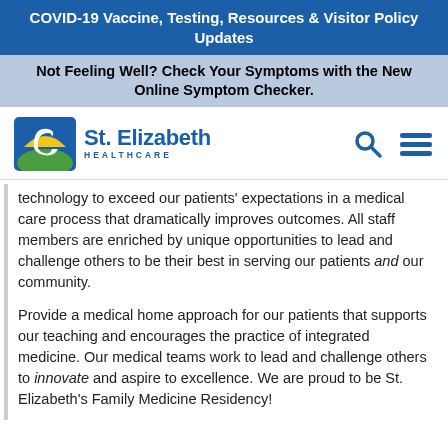COVID-19 Vaccine, Testing, Resources & Visitor Policy Updates
Not Feeling Well? Check Your Symptoms with the New Online Symptom Checker.
[Figure (logo): St. Elizabeth Healthcare logo with search and menu icons]
technology to exceed our patients' expectations in a medical care process that dramatically improves outcomes. All staff members are enriched by unique opportunities to lead and challenge others to be their best in serving our patients and our community.
Provide a medical home approach for our patients that supports our teaching and encourages the practice of integrated medicine. Our medical teams work to lead and challenge others to innovate and aspire to excellence. We are proud to be St. Elizabeth's Family Medicine Residency!